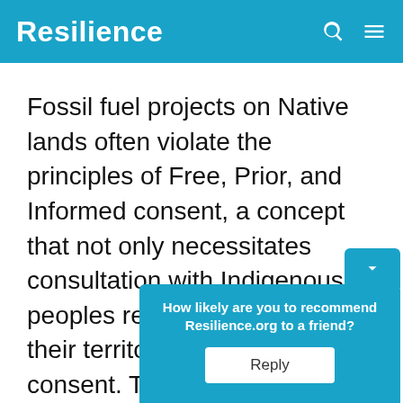Resilience
Fossil fuel projects on Native lands often violate the principles of Free, Prior, and Informed consent, a concept that not only necessitates consultation with Indigenous peoples regarding projects on their territory, but requires their consent. That principle lies at the heart of the [United] Natio[ns Declaration on the Rights of] Indige[nous Peoples, which was adopte]d
How likely are you to recommend Resilience.org to a friend?
Reply